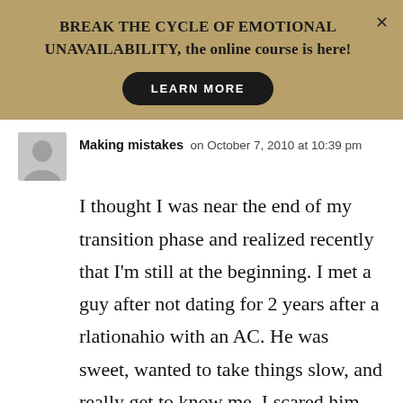BREAK THE CYCLE OF EMOTIONAL UNAVAILABILITY, the online course is here!
[Figure (other): LEARN MORE button - black rounded pill-shaped button with white text]
Making mistakes on October 7, 2010 at 10:39 pm
I thought I was near the end of my transition phase and realized recently that I'm still at the beginning. I met a guy after not dating for 2 years after a rlationahio with an AC. He was sweet, wanted to take things slow, and really get to know me. I scared him away with all my insecurities.